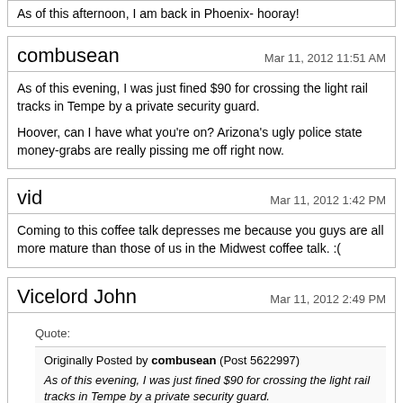As of this afternoon, I am back in Phoenix- hooray!
combusean
Mar 11, 2012 11:51 AM
As of this evening, I was just fined $90 for crossing the light rail tracks in Tempe by a private security guard.

Hoover, can I have what you're on? Arizona's ugly police state money-grabs are really pissing me off right now.
vid
Mar 11, 2012 1:42 PM
Coming to this coffee talk depresses me because you guys are all more mature than those of us in the Midwest coffee talk. :(
Vicelord John
Mar 11, 2012 2:49 PM
Quote:
Originally Posted by combusean (Post 5622997)
As of this evening, I was just fined $90 for crossing the light rail tracks in Tempe by a private security guard.
Hoover, can I have what you're on? Arizona's ugly police